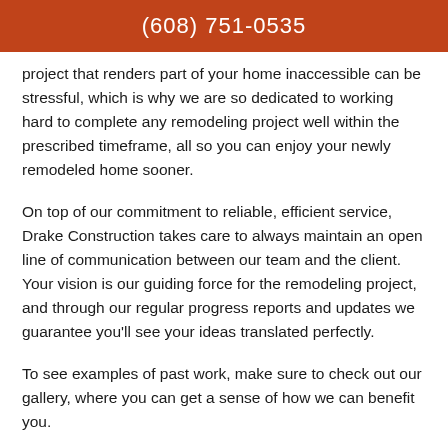(608) 751-0535
project that renders part of your home inaccessible can be stressful, which is why we are so dedicated to working hard to complete any remodeling project well within the prescribed timeframe, all so you can enjoy your newly remodeled home sooner.
On top of our commitment to reliable, efficient service, Drake Construction takes care to always maintain an open line of communication between our team and the client. Your vision is our guiding force for the remodeling project, and through our regular progress reports and updates we guarantee you'll see your ideas translated perfectly.
To see examples of past work, make sure to check out our gallery, where you can get a sense of how we can benefit you.